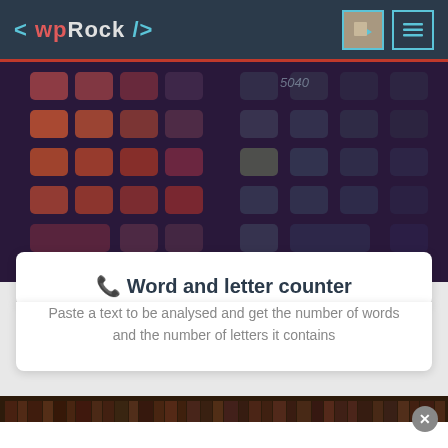< wpRock />
[Figure (photo): Close-up photograph of a scientific calculator with colorful keys (red, orange, yellow, green) on a dark background, blurred/bokeh style]
🔢 Word and letter counter
Paste a text to be analysed and get the number of words and the number of letters it contains
[Figure (photo): Photograph of library bookshelves filled with books, dark warm-toned image]